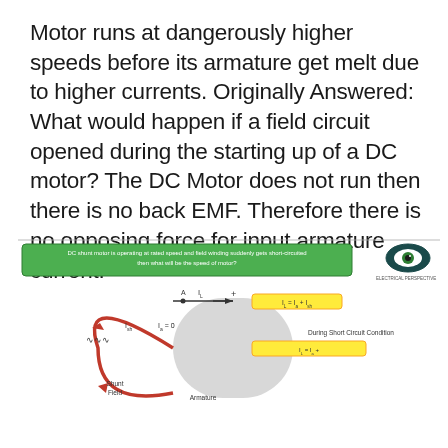Motor runs at dangerously higher speeds before its armature get melt due to higher currents. Originally Answered: What would happen if a field circuit opened during the starting up of a DC motor? The DC Motor does not run then there is no back EMF. Therefore there is no opposing force for input armature current.
[Figure (schematic): DC shunt motor circuit diagram showing short circuit path, shunt field, armature, current labels (I_sh, I_a=0, I_L, I_L = I_a + I_sh, I_L = I_a + Short Circuit Path), 'During Short Circuit Condition' label, note about current preference and I_a=0, T proportional to 0*I_a table, watermark ELECTRICAL PERSPECTIVE, YouTube play button overlay, eye logo, and note: Always check whether there is current flowing through armature or not.]